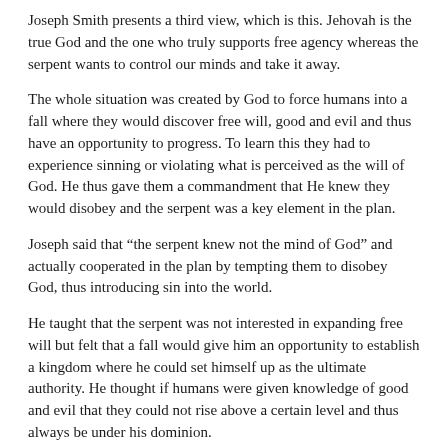Joseph Smith presents a third view, which is this. Jehovah is the true God and the one who truly supports free agency whereas the serpent wants to control our minds and take it away.
The whole situation was created by God to force humans into a fall where they would discover free will, good and evil and thus have an opportunity to progress. To learn this they had to experience sinning or violating what is perceived as the will of God. He thus gave them a commandment that He knew they would disobey and the serpent was a key element in the plan.
Joseph said that “the serpent knew not the mind of God” and actually cooperated in the plan by tempting them to disobey God, thus introducing sin into the world.
He taught that the serpent was not interested in expanding free will but felt that a fall would give him an opportunity to establish a kingdom where he could set himself up as the ultimate authority. He thought if humans were given knowledge of good and evil that they could not rise above a certain level and thus always be under his dominion.